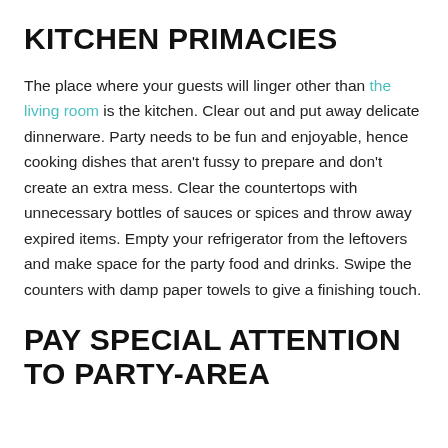KITCHEN PRIMACIES
The place where your guests will linger other than the living room is the kitchen. Clear out and put away delicate dinnerware. Party needs to be fun and enjoyable, hence cooking dishes that aren't fussy to prepare and don't create an extra mess. Clear the countertops with unnecessary bottles of sauces or spices and throw away expired items. Empty your refrigerator from the leftovers and make space for the party food and drinks. Swipe the counters with damp paper towels to give a finishing touch.
PAY SPECIAL ATTENTION TO PARTY-AREA